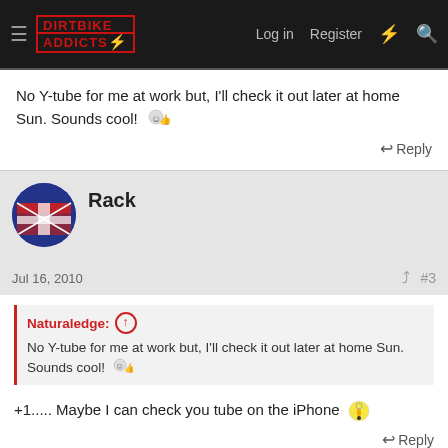DIRTBIKE ADDICTS — Log in | Register
No Y-tube for me at work but, I'll check it out later at home Sun. Sounds cool! 😊👍
↩ Reply
Rack
Jul 16, 2010  #3
Naturaledge: ↑
No Y-tube for me at work but, I'll check it out later at home Sun. Sounds cool! 😊👍
+1..... Maybe I can check you tube on the iPhone 💡
↩ Reply